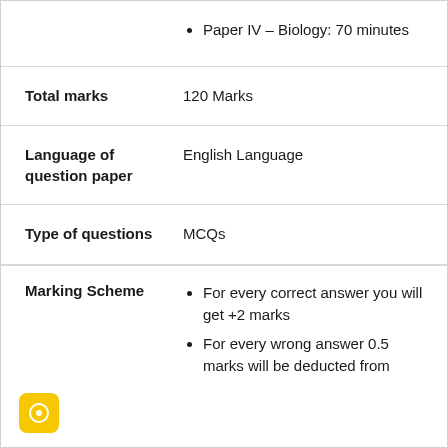Paper IV – Biology: 70 minutes
Total marks: 120 Marks
Language of question paper: English Language
Type of questions: MCQs
Marking Scheme
For every correct answer you will get +2 marks
For every wrong answer 0.5 marks will be deducted from